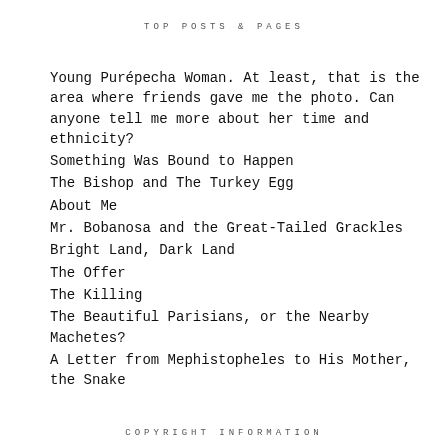TOP POSTS & PAGES
Young Purépecha Woman. At least, that is the area where friends gave me the photo. Can anyone tell me more about her time and ethnicity?
Something Was Bound to Happen
The Bishop and The Turkey Egg
About Me
Mr. Bobanosa and the Great-Tailed Grackles
Bright Land, Dark Land
The Offer
The Killing
The Beautiful Parisians, or the Nearby Machetes?
A Letter from Mephistopheles to His Mother, the Snake
COPYRIGHT INFORMATION